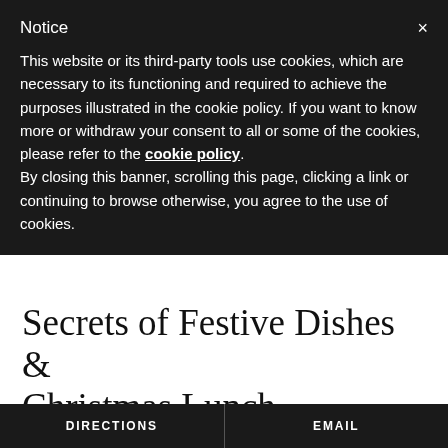Notice
This website or its third-party tools use cookies, which are necessary to its functioning and required to achieve the purposes illustrated in the cookie policy. If you want to know more or withdraw your consent to all or some of the cookies, please refer to the cookie policy.
By closing this banner, scrolling this page, clicking a link or continuing to browse otherwise, you agree to the use of cookies.
Secrets of Festive Dishes & Christmas Lunch Traditions
YE OLDE BELL HOTEL & RESTAURANT
AUGUST 22 2017
Have you ever wondered where it all started with the Great British
DIRECTIONS    EMAIL